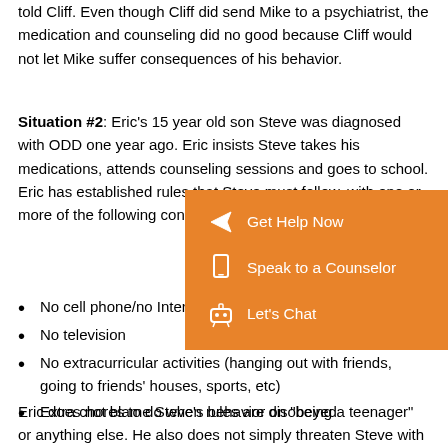told Cliff. Even though Cliff did send Mike to a psychiatrist, the medication and counseling did no good because Cliff would not let Mike suffer consequences of his behavior.
Situation #2: Eric's 15 year old son Steve was diagnosed with ODD one year ago. Eric insists Steve takes his medications, attends counseling sessions and goes to school. Eric has established rules that Steve must follow, with one or more of the following consequences:
No cell phone/no Internet
No television
No extracurricular activities (hanging out with friends, going to friends' houses, sports, etc)
Extra chores to do when rules are disobeyed
Eric does not blame Steve's behavior on "being a teenager" or anything else. He also does not simply threaten Steve with consequences. He goes through
[Figure (screenshot): Orange popup overlay with three options: 'Get Help Now' with arrow icon, 'Speak to a Counselor' with phone icon, and 'Let's Chat' with robot/chat icon.]